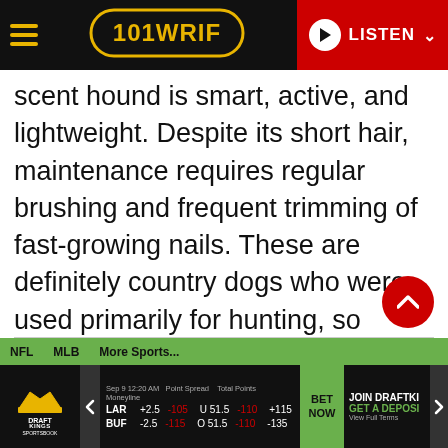101 WRIF — LISTEN
scent hound is smart, active, and lightweight. Despite its short hair, maintenance requires regular brushing and frequent trimming of fast-growing nails. These are definitely country dogs who were used primarily for hunting, so apartment living will not suit them, but first-time owners will find they are intelligent and easy to train with positive reinforcement.
NFL  MLB  More Sports...  LAR +2.5 -105  U 51.5 -110  +115  BUF -2.5 -115  O 51.5 -110  -135  BET NOW  JOIN DRAFTKINGS  GET A DEPOSIT  View Full Terms